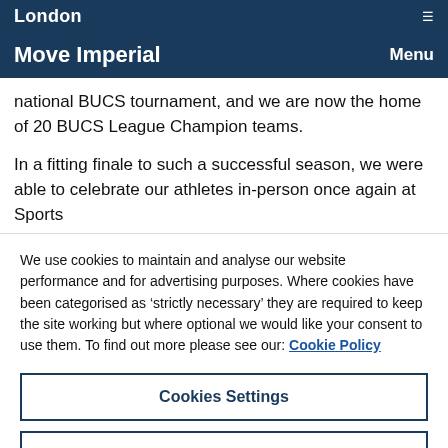London | Menu
Move Imperial | Menu
national BUCS tournament, and we are now the home of 20 BUCS League Champion teams.
In a fitting finale to such a successful season, we were able to celebrate our athletes in-person once again at Sports
We use cookies to maintain and analyse our website performance and for advertising purposes. Where cookies have been categorised as ‘strictly necessary’ they are required to keep the site working but where optional we would like your consent to use them. To find out more please see our: Cookie Policy
Cookies Settings
Reject All